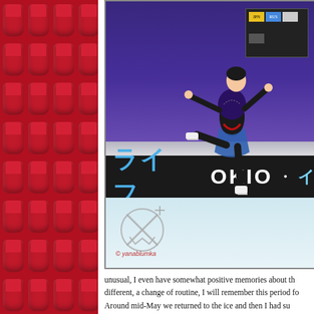[Figure (photo): Red stadium seats on the left side panel forming a decorative background]
[Figure (photo): Figure skater performing on ice at a competition rink with Japanese and English sponsor banners reading 'TOKIO', purple arena lighting in the background. Watermark: © yanablumka]
unusual, I even have somewhat positive memories about th... different, a change of routine, I will remember this period fo... Around mid-May we returned to the ice and then I had su... the season started, competitions kept being cancelled which...
Yes, that season there were almost no competitions and th...
Your first senior Worlds - but strange ones, inside the "b...